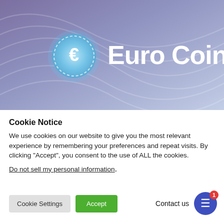[Figure (logo): Euro Coin logo on purple-blue gradient swirl background. A circular blue coin icon with euro sign on the left, and large white bold text 'Euro Coin' on the right.]
Cookie Notice
We use cookies on our website to give you the most relevant experience by remembering your preferences and repeat visits. By clicking “Accept”, you consent to the use of ALL the cookies.
Do not sell my personal information.